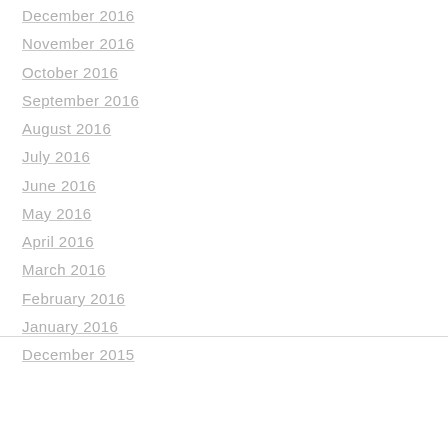December 2016
November 2016
October 2016
September 2016
August 2016
July 2016
June 2016
May 2016
April 2016
March 2016
February 2016
January 2016
December 2015